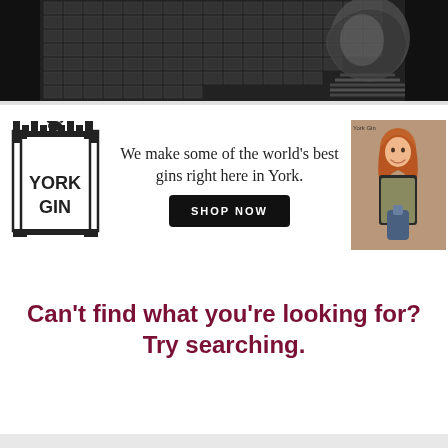[Figure (photo): Black and white photo of an art installation with grid of images and a sketch/portrait drawing on the right side]
[Figure (infographic): York Gin advertisement banner with York Gin logo on the left, tagline text in the center reading 'We make some of the world's best gins right here in York.' with a SHOP NOW button, and a photo of a smiling red-haired woman in apron holding a gin bottle on the right]
Can't find what you're looking for? Try searching.